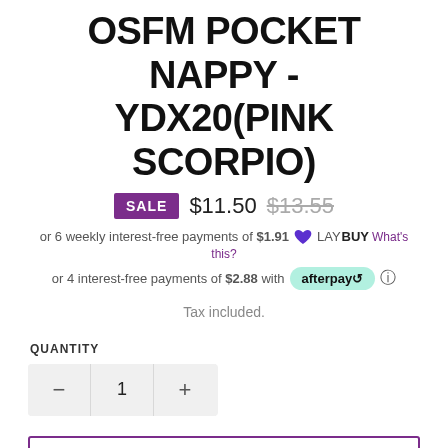OSFM POCKET NAPPY - YDX20(PINK SCORPIO)
SALE $11.50 $13.55
or 6 weekly interest-free payments of $1.91 LAY BUY What's this?
or 4 interest-free payments of $2.88 with afterpay
Tax included.
QUANTITY
- 1 +
ADD TO CART